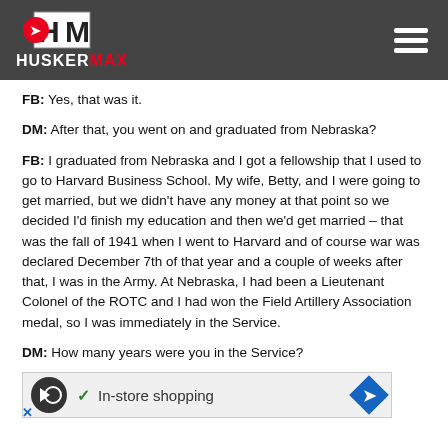HUSKERMAX
FB: Yes, that was it.
DM: After that, you went on and graduated from Nebraska?
FB: I graduated from Nebraska and I got a fellowship that I used to go to Harvard Business School. My wife, Betty, and I were going to get married, but we didn't have any money at that point so we decided I'd finish my education and then we'd get married – that was the fall of 1941 when I went to Harvard and of course war was declared December 7th of that year and a couple of weeks after that, I was in the Army. At Nebraska, I had been a Lieutenant Colonel of the ROTC and I had won the Field Artillery Association medal, so I was immediately in the Service.
DM: How many years were you in the Service?
FB: Almost five years. I think it was about three months short
DM: